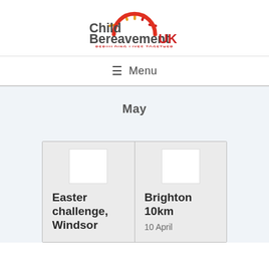[Figure (logo): Child Bereavement UK logo with sun graphic and tagline REBUILDING LIVES TOGETHER]
≡ Menu
May
Easter challenge, Windsor
Brighton 10km
10 April